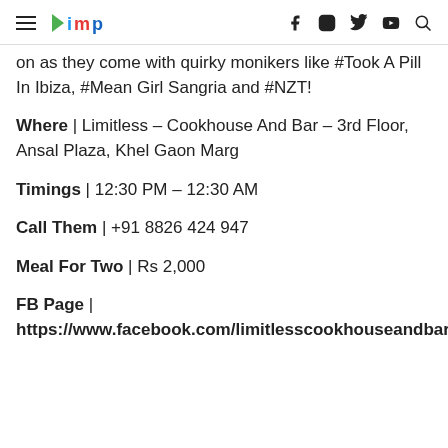≡ bimp | f IG y ▶ Q
on as they come with quirky monikers like #Took A Pill In Ibiza, #Mean Girl Sangria and #NZT!
Where | Limitless – Cookhouse And Bar – 3rd Floor, Ansal Plaza, Khel Gaon Marg
Timings | 12:30 PM – 12:30 AM
Call Them | +91 8826 424 947
Meal For Two | Rs 2,000
FB Page | https://www.facebook.com/limitlesscookhouseandbar/